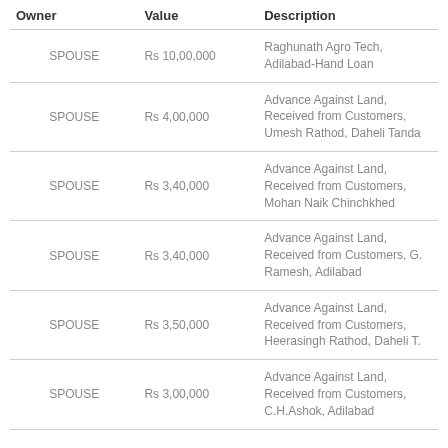| Owner | Value | Description |
| --- | --- | --- |
| SPOUSE | Rs 10,00,000 | Raghunath Agro Tech, Adilabad-Hand Loan |
| SPOUSE | Rs 4,00,000 | Advance Against Land, Received from Customers, Umesh Rathod, Daheli Tanda |
| SPOUSE | Rs 3,40,000 | Advance Against Land, Received from Customers, Mohan Naik Chinchkhed |
| SPOUSE | Rs 3,40,000 | Advance Against Land, Received from Customers, G. Ramesh, Adilabad |
| SPOUSE | Rs 3,50,000 | Advance Against Land, Received from Customers, Heerasingh Rathod, Daheli T. |
| SPOUSE | Rs 3,00,000 | Advance Against Land, Received from Customers, C.H.Ashok, Adilabad |